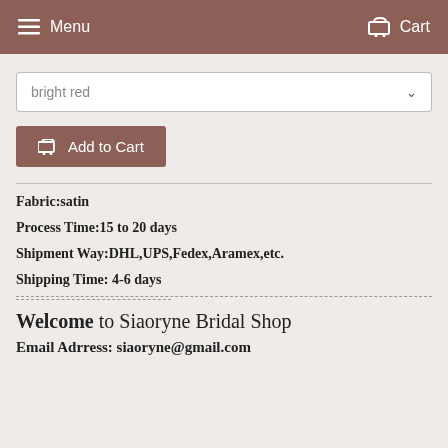Menu   Cart
bright red
Add to Cart
Fabric:satin
Process Time:15 to 20 days
Shipment Way:DHL,UPS,Fedex,Aramex,etc.
Shipping Time: 4-6 days
Welcome to Siaoryne Bridal Shop
Email Adrress: siaoryne@gmail.com